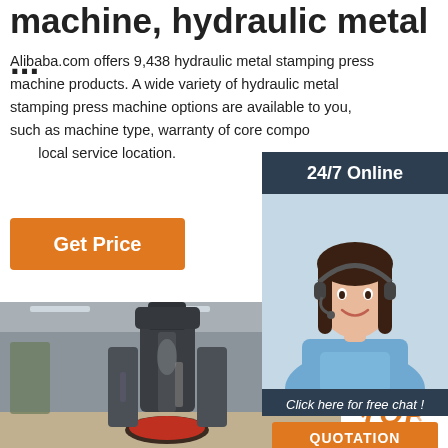machine, hydraulic metal ...
Alibaba.com offers 9,438 hydraulic metal stamping press machine products. A wide variety of hydraulic metal stamping press machine options are available to you, such as machine type, warranty of core components, and local service location.
Get Price
[Figure (photo): Customer service representative with headset, displayed in a dark navy sidebar panel with '24/7 Online' header, 'Click here for free chat!' text, and an orange QUOTATION button.]
[Figure (photo): Hydraulic metal stamping press machine in an industrial factory setting, large dark metal machine in foreground with factory floor in background.]
[Figure (other): TOP badge/logo in orange on white background, lower right corner.]